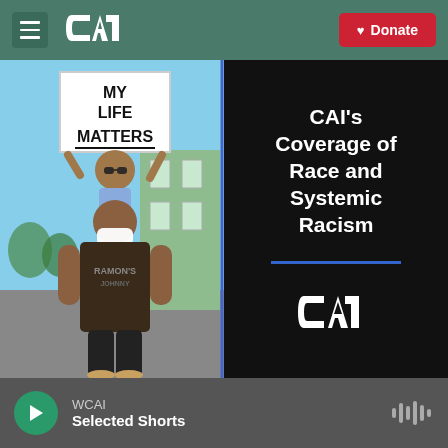CAI navigation bar with hamburger menu, CAI logo, and Donate button
[Figure (photo): Left half: protest photo showing a child on an adult's shoulders holding a 'MY LIFE MATTERS' sign; Right half: black panel with white bold text reading 'CAI's Coverage of Race and Systemic Racism', a blue horizontal divider line, and the CAI logo]
WCAI | Selected Shorts — audio player bar with play button and waveform icon